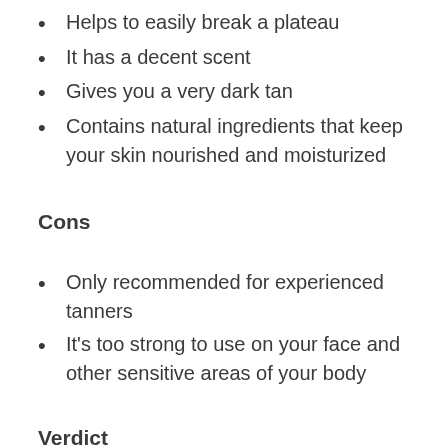Helps to easily break a plateau
It has a decent scent
Gives you a very dark tan
Contains natural ingredients that keep your skin nourished and moisturized
Cons
Only recommended for experienced tanners
It's too strong to use on your face and other sensitive areas of your body
Verdict